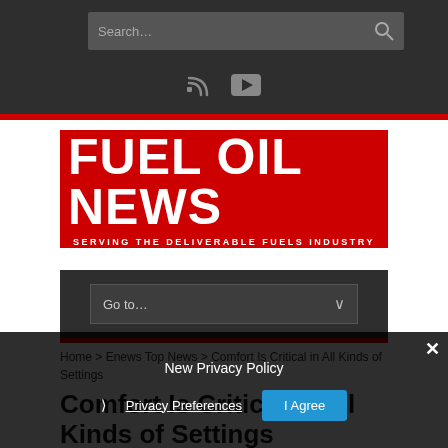Search...
[Figure (logo): Fuel Oil News logo — red background with white bold text 'FUEL OIL NEWS' and subtitle 'SERVING THE DELIVERABLE FUELS INDUSTRY']
Go to...
Home > Enews Top News > Comfort Is Critical in All Kinds of Settings
New Privacy Policy
Privacy Preferences
I Agree
Comfort Is Critical in All Kinds of Settings